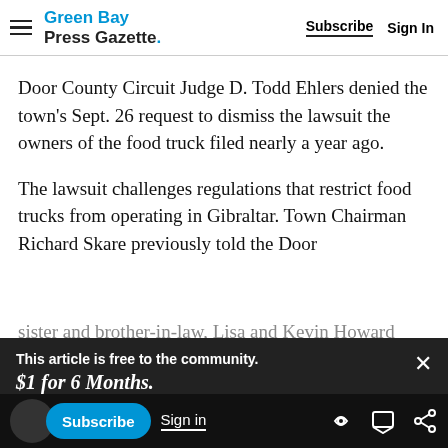Green Bay Press Gazette. Subscribe Sign In
Door County Circuit Judge D. Todd Ehlers denied the town's Sept. 26 request to dismiss the lawsuit the owners of the food truck filed nearly a year ago.
The lawsuit challenges regulations that restrict food trucks from operating in Gibraltar. Town Chairman Richard Skare previously told the Door
sister and brother-in-law, Lisa and Kevin Howard
[Figure (screenshot): Paywall overlay banner: 'This article is free to the community.' '$1 for 6 Months.' 'Subscribe now' link, with close X button]
Subscribe | Sign in | icons
which also holds their business, White Cottage